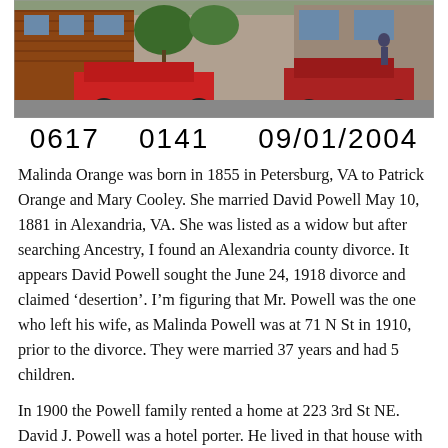[Figure (photo): Street scene photograph showing red cars parked in front of brick buildings with trees and a person visible in the background]
0617    0141    09/01/2004
Malinda Orange was born in 1855 in Petersburg, VA to Patrick Orange and Mary Cooley. She married David Powell May 10, 1881 in Alexandria, VA. She was listed as a widow but after searching Ancestry, I found an Alexandria county divorce. It appears David Powell sought the June 24, 1918 divorce and claimed ‘desertion’. I’m figuring that Mr. Powell was the one who left his wife, as Malinda Powell was at 71 N St in 1910, prior to the divorce. They were married 37 years and had 5 children.
In 1900 the Powell family rented a home at 223 3rd St NE. David J. Powell was a hotel porter. He lived in that house with Malinda and their 5 children, Mary